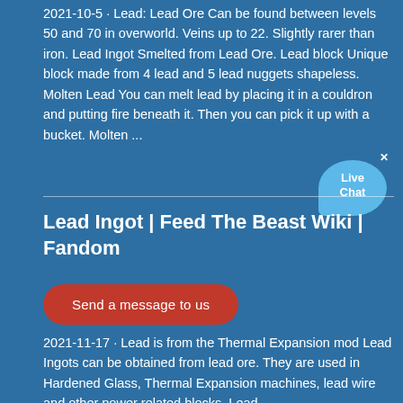2021-10-5 · Lead: Lead Ore Can be found between levels 50 and 70 in overworld. Veins up to 22. Slightly rarer than iron. Lead Ingot Smelted from Lead Ore. Lead block Unique block made from 4 lead and 5 lead nuggets shapeless. Molten Lead You can melt lead by placing it in a couldron and putting fire beneath it. Then you can pick it up with a bucket. Molten ...
[Figure (other): Live Chat bubble widget with close X button]
Lead Ingot | Feed The Beast Wiki | Fandom
[Figure (other): Red rounded button labeled 'Send a message to us']
2021-11-17 · Lead is from the Thermal Expansion mod Lead Ingots can be obtained from lead ore. They are used in Hardened Glass, Thermal Expansion machines, lead wire and other power related blocks. Lead